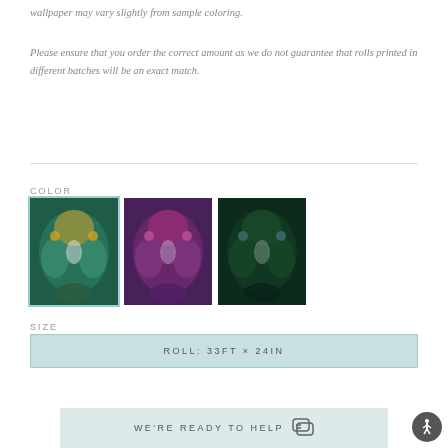wallpaper may vary slightly from sample coloring.
Please ensure that you order the correct amount as we do not guarantee that rolls printed in different batches will be an exact match.
COLOR
[Figure (photo): Three color swatches of decorative wallpaper with bird and foliage designs. First (selected, teal-bordered): teal/green toned. Second: purple/pink toned. Third: dark green toned.]
SIZE
ROLL: 33FT × 24IN
WE'RE READY TO HELP